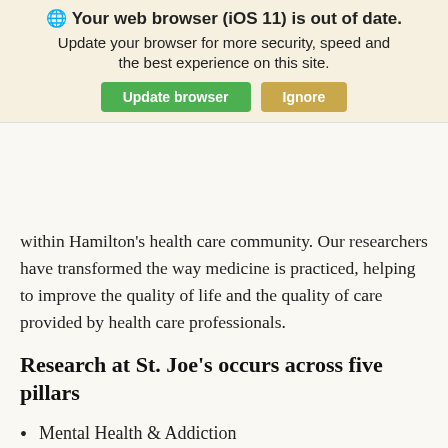[Figure (screenshot): Browser update notification banner saying 'Your web browser (iOS 11) is out of date. Update your browser for more security, speed and the best experience on this site.' with two buttons: 'Update browser' (green) and 'Ignore' (tan/gold).]
within Hamilton's health care community. Our researchers have transformed the way medicine is practiced, helping to improve the quality of life and the quality of care provided by health care professionals.
Research at St. Joe's occurs across five pillars
Mental Health & Addiction
Lungs & Chest
Father Sean O'Sullivan Research Centre